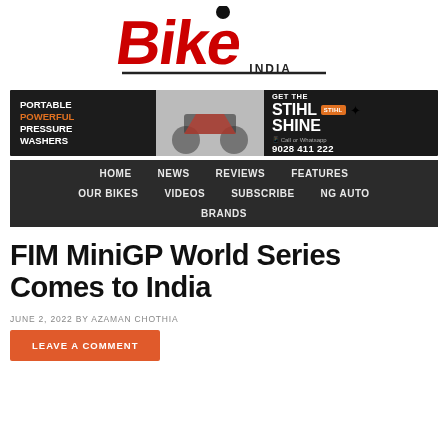[Figure (logo): Bike India magazine logo in red stylized text with INDIA underneath]
[Figure (photo): STIHL advertisement banner: Portable Powerful Pressure Washers, Get the STIHL Shine, Call or Whatsapp 9028 411 222]
HOME | NEWS | REVIEWS | FEATURES | OUR BIKES | VIDEOS | SUBSCRIBE | NG AUTO | BRANDS
FIM MiniGP World Series Comes to India
JUNE 2, 2022 BY AZAMAN CHOTHIA
LEAVE A COMMENT